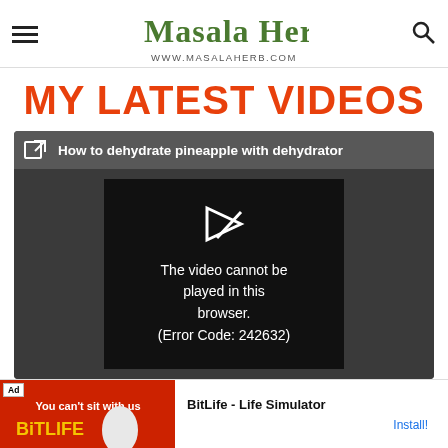Masala Herb - www.MasalaHerb.com
MY LATEST VIDEOS
[Figure (screenshot): Video player showing error: 'How to dehydrate pineapple with dehydrator' - The video cannot be played in this browser. (Error Code: 242632)]
So th... prep...
[Figure (screenshot): Ad banner: BitLife - Life Simulator - Install!]